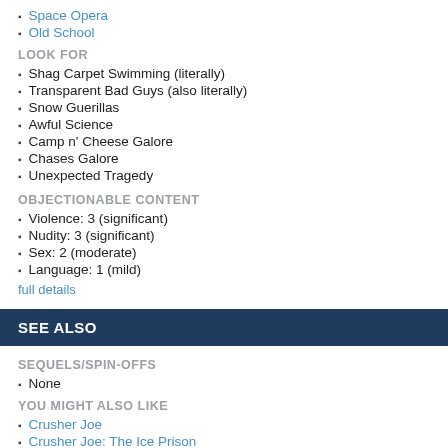Space Opera
Old School
LOOK FOR
Shag Carpet Swimming (literally)
Transparent Bad Guys (also literally)
Snow Guerillas
Awful Science
Camp n' Cheese Galore
Chases Galore
Unexpected Tragedy
OBJECTIONABLE CONTENT
Violence: 3 (significant)
Nudity: 3 (significant)
Sex: 2 (moderate)
Language: 1 (mild)
full details
SEE ALSO
SEQUELS/SPIN-OFFS
None
YOU MIGHT ALSO LIKE
Crusher Joe
Crusher Joe: The Ice Prison
Crusher Joe: The Ultimate Weapon: ASH
Golgo 13: The Professional